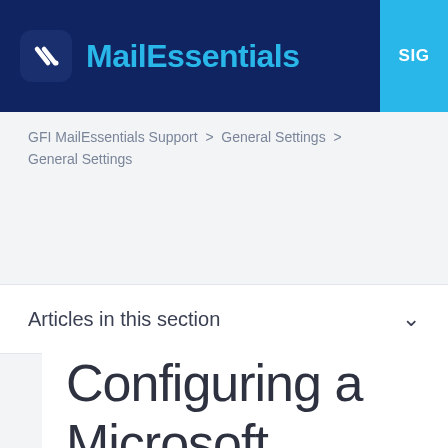MailEssentials | SIG
GFI MailEssentials Support > General Settings > General Settings
[Figure (screenshot): Search box with magnifying glass icon and placeholder text 'Sea']
Articles in this section
Configuring a Microsoft Exchange